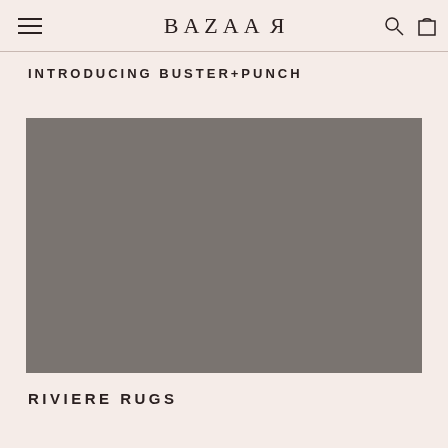BAZAАR
INTRODUCING BUSTER+PUNCH
[Figure (photo): A grey/taupe colored rectangular image placeholder for a rug product photo]
RIVIERE RUGS